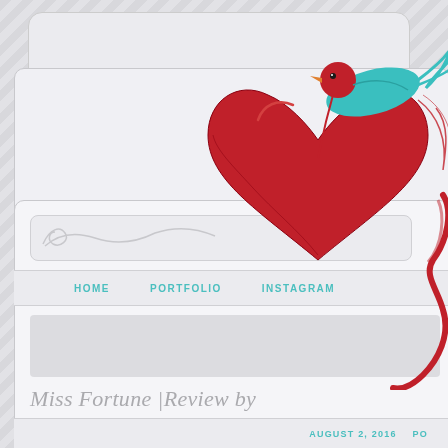[Figure (screenshot): Blog website screenshot with decorative bird carrying a red heart illustration, navigation menu with HOME, PORTFOLIO, INSTAGRAM items, and a blog post title 'Miss Fortune |Review by']
HOME
PORTFOLIO
INSTAGRAM
Miss Fortune |Review by
AUGUST 2, 2016
PO